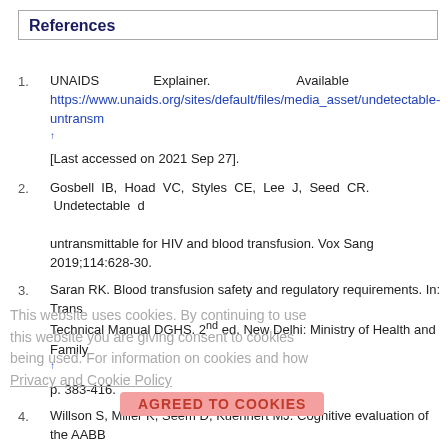References
UNAIDS Explainer. Available https://www.unaids.org/sites/default/files/media_asset/undetectable-untransm↑ [Last accessed on 2021 Sep 27].
Gosbell IB, Hoad VC, Styles CE, Lee J, Seed CR. Undetectable d untransmittable for HIV and blood transfusion. Vox Sang 2019;114:628-30.
Saran RK. Blood transfusion safety and regulatory requirements. In: Trans Technical Manual DGHS. 2nd ed. New Delhi: Ministry of Health and Family p. 383-416.
Willson S, Miller K, Seem D, Kuehnert MJ. Cognitive evaluation of the AABB↑ History Questionnaire. Transfusion 2016;56:1662-7.
Raturi M, Kusum A. Utilizing SPIKES protocol for breaking bad news to sero↑ donors. Transfus Clin Biol 2020;27:165-7.